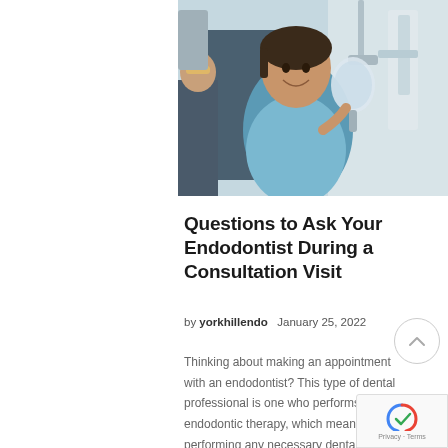[Figure (photo): A patient sitting in a dental chair holding a mirror and smiling, wearing a blue dental bib, with dental equipment visible in the background and a dental professional partially visible on the left.]
Questions to Ask Your Endodontist During a Consultation Visit
by yorkhillendo   January 25, 2022
Thinking about making an appointment with an endodontist? This type of dental professional is one who performs endodontic therapy, which means performing any necessary dental procedures that address the pulp of a tooth.